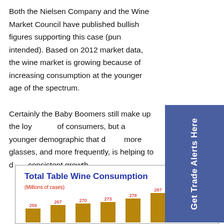Both the Nielsen Company and the Wine Market Council have published bullish figures supporting this case (pun intended). Based on 2012 market data, the wine market is growing because of increasing consumption at the younger age of the spectrum.
Certainly the Baby Boomers still make up the loy[al core] of consumers, but a younger demographic that d[rinks] more glasses, and more frequently, is helping to d[rive] consistent growth.
[Figure (bar-chart): Total Table Wine Consumption]